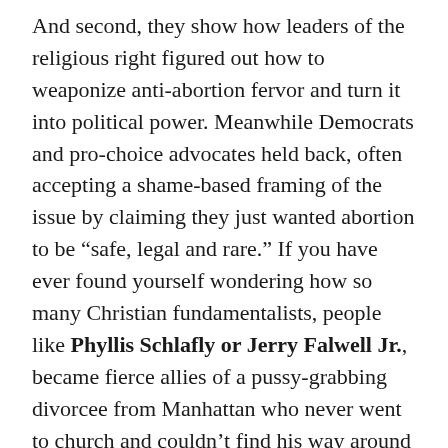And second, they show how leaders of the religious right figured out how to weaponize anti-abortion fervor and turn it into political power. Meanwhile Democrats and pro-choice advocates held back, often accepting a shame-based framing of the issue by claiming they just wanted abortion to be “safe, legal and rare.” If you have ever found yourself wondering how so many Christian fundamentalists, people like Phyllis Schlafly or Jerry Falwell Jr., became fierce allies of a pussy-grabbing divorcee from Manhattan who never went to church and couldn’t find his way around a Bible if he tried, The Lie That Binds will answer your question. As Weyrich himself told a meeting of rightwing activists in 1990, this has never just been about ending abortion: it’s about galvanizing the anxieties of Americans who identify with the traditions of white Christian patriarchy, giving them a sense of moral superiority,